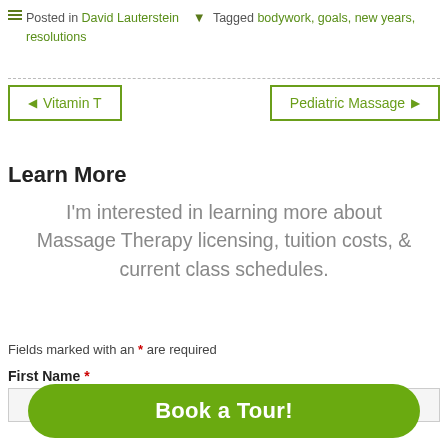Posted in David Lauterstein  Tagged bodywork, goals, new years, resolutions
◄ Vitamin T    Pediatric Massage ►
Learn More
I'm interested in learning more about Massage Therapy licensing, tuition costs, & current class schedules.
Fields marked with an * are required
First Name *
Book a Tour!